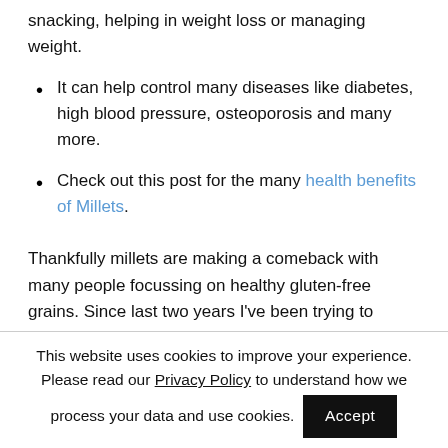snacking, helping in weight loss or managing weight.
It can help control many diseases like diabetes, high blood pressure, osteoporosis and many more.
Check out this post for the many health benefits of Millets.
Thankfully millets are making a comeback with many people focussing on healthy gluten-free grains. Since last two years I've been trying to collect so many
This website uses cookies to improve your experience. Please read our Privacy Policy to understand how we process your data and use cookies.